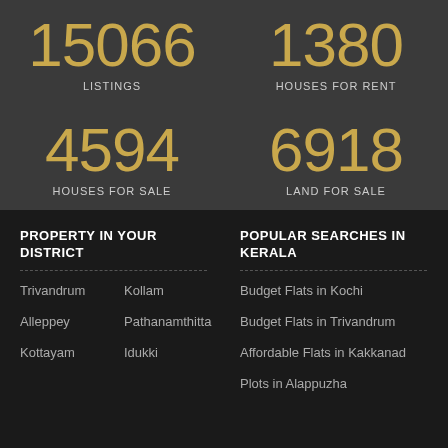15066 LISTINGS
1380 HOUSES FOR RENT
4594 HOUSES FOR SALE
6918 LAND FOR SALE
PROPERTY IN YOUR DISTRICT
POPULAR SEARCHES IN KERALA
Trivandrum
Kollam
Alleppey
Pathanamthitta
Kottayam
Idukki
Budget Flats in Kochi
Budget Flats in Trivandrum
Affordable Flats in Kakkanad
Plots in Alappuzha